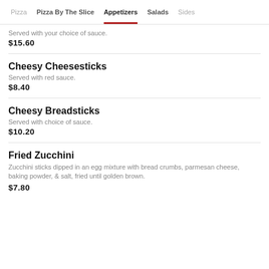Pizza | Pizza By The Slice | Appetizers | Salads | Sides
Served with your choice of sauce.
$15.60
Cheesy Cheesesticks
Served with red sauce.
$8.40
Cheesy Breadsticks
Served with choice of sauce.
$10.20
Fried Zucchini
Zucchini sticks dipped in an egg mixture with bread crumbs, parmesan cheese, baking powder, & salt, fried until golden brown.
$7.80